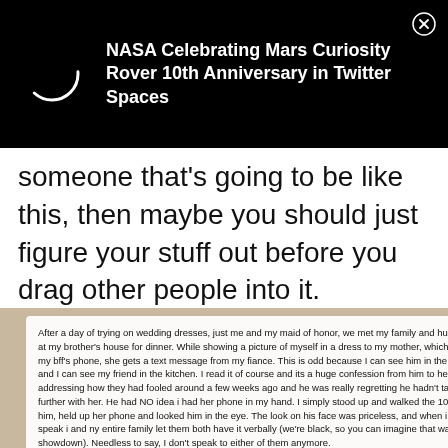[Figure (screenshot): Black notification bar showing 'NASA Celebrating Mars Curiosity Rover 10th Anniversary in Twitter Spaces' with a circular loading icon and close button]
someone that's going to be like this, then maybe you should just figure your stuff out before you drag other people into it.
[Figure (screenshot): Text screenshot of a story: After a day of trying on wedding dresses, just me and my maid of honor, we met my family and hubby-to-be at my brother's house for dinner. While showing a picture of myself in a dress to my mother, which was on my bff's phone, she gets a text message from my fiance. This is odd because I can see him in the next room and I can see my friend in the kitchen. I read it of course and its a huge confession from him to her, addressing how they had fooled around a few weeks ago and he was really regretting he hadn't taken things further with her. He had NO idea i had her phone in my hand. I simply stood up and walked the 10 feet to him, held up her phone and looked him in the eye. The look on his face was priceless, and when i could speak i and ny entire family let them both have it verbally (we're black, so you can imagine that was quite the showdown). Needless to say, I don't speak to either of them anymore.]